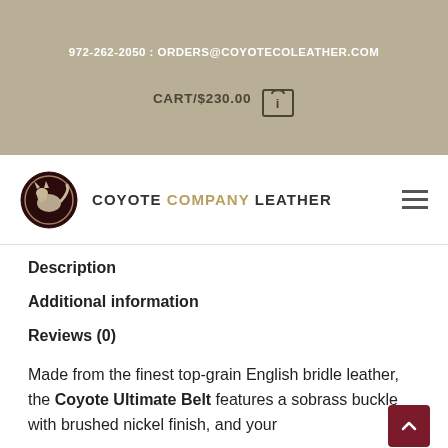972-262-2050 : ORDERS@COYOTECOLEATHER.COM
CART/$230.00
[Figure (logo): Coyote Company Leather logo — circular dark brown badge with stylized coyote silhouette, next to text COYOTE COMPANY LEATHER]
Description
Additional information
Reviews (0)
Made from the finest top-grain English bridle leather, the Coyote Ultimate Belt features a solid brass buckle with brushed nickel finish, and your